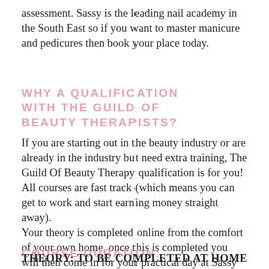assessment. Sassy is the leading nail academy in the South East so if you want to master manicure and pedicures then book your place today.
WHY A QUALIFICATION WITH THE GUILD OF BEAUTY THERAPISTS?
If you are starting out in the beauty industry or are already in the industry but need extra training, The Guild Of Beauty Therapy qualification is for you! All courses are fast track (which means you can get to work and start earning money straight away).
Your theory is completed online from the comfort of your own home, once this is completed you will then come in for your practical day at Sassy Training Academy in Sussex.
COURSE DURATION:
THEORY: TO BE COMPLETED AT HOME